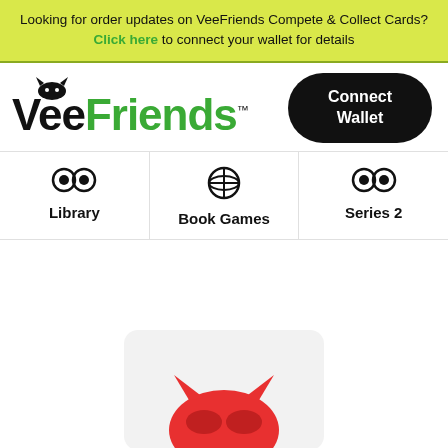Looking for order updates on VeeFriends Compete & Collect Cards? Click here to connect your wallet for details
[Figure (logo): VeeFriends logo with cat icon and green Friends text, plus Connect Wallet button]
Library
Book Games
Series 2
[Figure (illustration): Partial card preview showing red animal face at bottom]